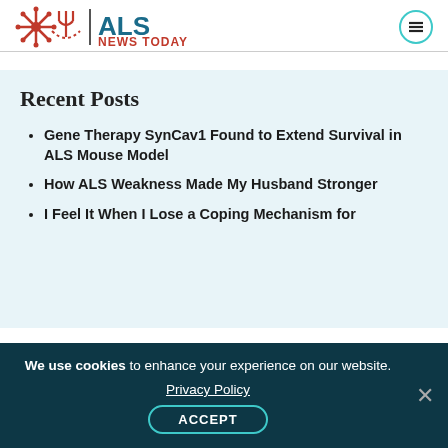ALS News Today
Recent Posts
Gene Therapy SynCav1 Found to Extend Survival in ALS Mouse Model
How ALS Weakness Made My Husband Stronger
I Feel It When I Lose a Coping Mechanism for
We use cookies to enhance your experience on our website. Privacy Policy ACCEPT